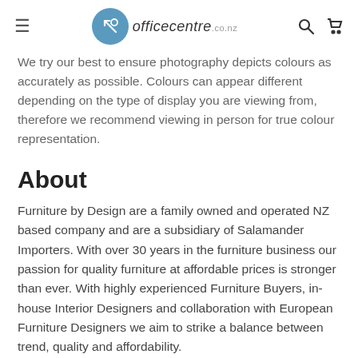officecentre.co.nz
We try our best to ensure photography depicts colours as accurately as possible. Colours can appear different depending on the type of display you are viewing from, therefore we recommend viewing in person for true colour representation.
About
Furniture by Design are a family owned and operated NZ based company and are a subsidiary of Salamander Importers. With over 30 years in the furniture business our passion for quality furniture at affordable prices is stronger than ever. With highly experienced Furniture Buyers, in-house Interior Designers and collaboration with European Furniture Designers we aim to strike a balance between trend, quality and affordability.